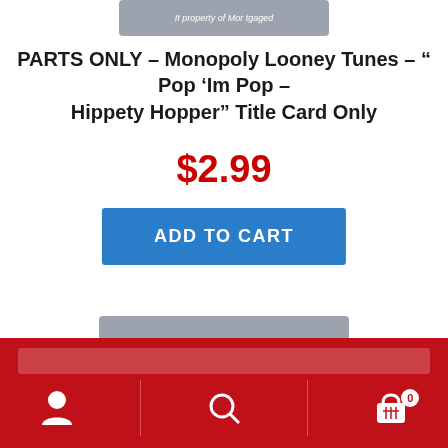[Figure (photo): Partial product image with gray background showing text 'It property of Mor tgaged']
PARTS ONLY – Monopoly Looney Tunes – " Pop 'Im Pop – Hippety Hopper" Title Card Only
$2.99
ADD TO CART
[Figure (photo): Gray Monopoly title card showing a cartoon cat character and the text 'SYLVESTER JR.']
Navigation bar with search, user icon, search icon, and cart icon with badge 0